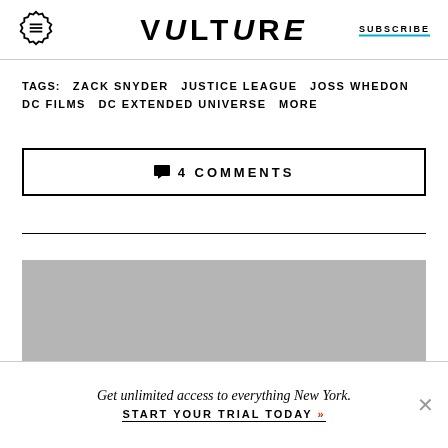VULTURE | SUBSCRIBE
TAGS: ZACK SNYDER  JUSTICE LEAGUE  JOSS WHEDON  DC FILMS  DC EXTENDED UNIVERSE  MORE
4 COMMENTS
[Figure (photo): Gray placeholder image block with a light half-circle shape at the bottom center]
Get unlimited access to everything New York. START YOUR TRIAL TODAY »